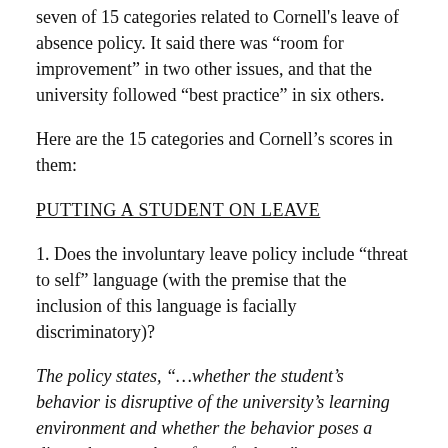seven of 15 categories related to Cornell's leave of absence policy. It said there was “room for improvement” in two other issues, and that the university followed “best practice” in six others.
Here are the 15 categories and Cornell’s scores in them:
PUTTING A STUDENT ON LEAVE
1. Does the involuntary leave policy include “threat to self” language (with the premise that the inclusion of this language is facially discriminatory)?
The policy states, “…whether the student’s behavior is disruptive of the university’s learning environment and whether the behavior poses a direct threat to the safety of others.”